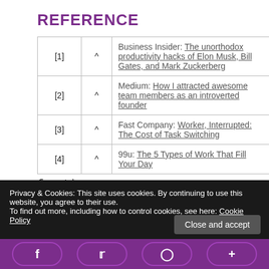REFERENCE
| [n] | ^ | Source |
| --- | --- | --- |
| [1] | ^ | Business Insider: The unorthodox productivity hacks of Elon Musk, Bill Gates, and Mark Zuckerberg |
| [2] | ^ | Medium: How I attracted awesome team members as an introverted founder |
| [3] | ^ | Fast Company: Worker, Interrupted: The Cost of Task Switching |
| [4] | ^ | 99u: The 5 Types of Work That Fill Your Day |
function footnote_expand_reference_container()
Privacy & Cookies: This site uses cookies. By continuing to use this website, you agree to their use.
To find out more, including how to control cookies, see here: Cookie Policy
Close and accept